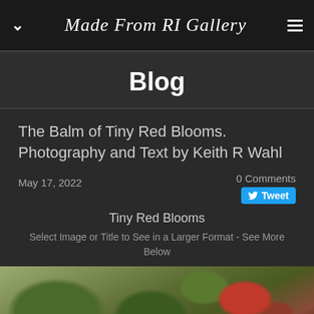Made From RI Gallery
Blog
The Balm of Tiny Red Blooms. Photography and Text by Keith R Wahl
May 17, 2022
0 Comments
Tweet
Tiny Red Blooms
Select Image or Title to See in a Larger Format - See More Below
[Figure (photo): Close-up photograph of green leaves with a red bloom, shown as a partial strip at the bottom of the page]